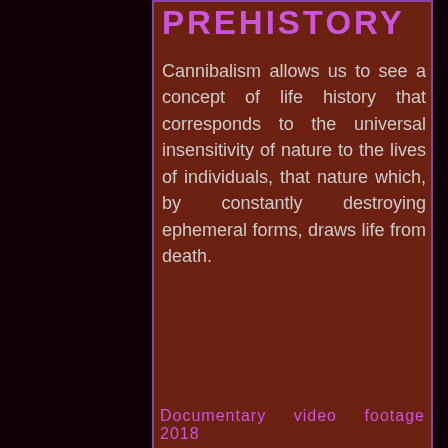PREHISTORY
Cannibalism allows us to see a concept of life history that corresponds to the universal insensitivity of nature to the lives of individuals, that nature which, by constantly destroying ephemeral forms, draws life from death.
Documentary video footage 2018